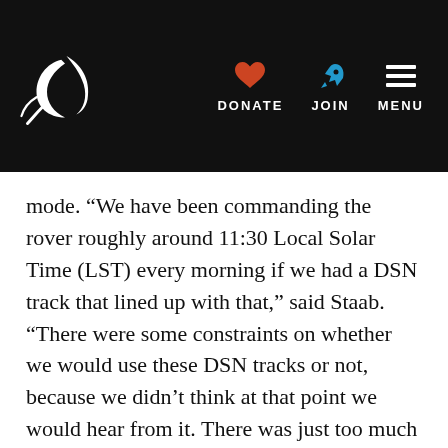Planetary Society — DONATE JOIN MENU
mode. “We have been commanding the rover roughly around 11:30 Local Solar Time (LST) every morning if we had a DSN track that lined up with that,” said Staab. “There were some constraints on whether we would use these DSN tracks or not, because we didn’t think at that point we would hear from it. There was just too much dust in the atmosphere for the rover to wake up.”
In a move back to tradition and to help boost morale, the team has returned to using wake